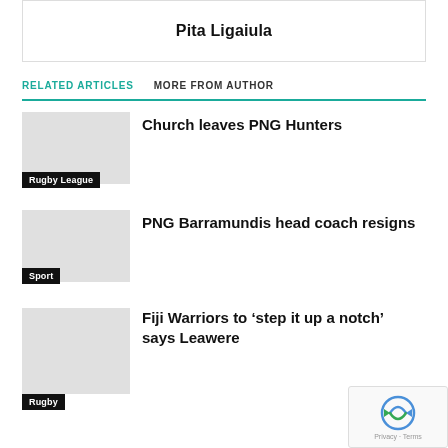Pita Ligaiula
RELATED ARTICLES   MORE FROM AUTHOR
Church leaves PNG Hunters
Rugby League
PNG Barramundis head coach resigns
Sport
Fiji Warriors to ‘step it up a notch’ says Leawere
Rugby